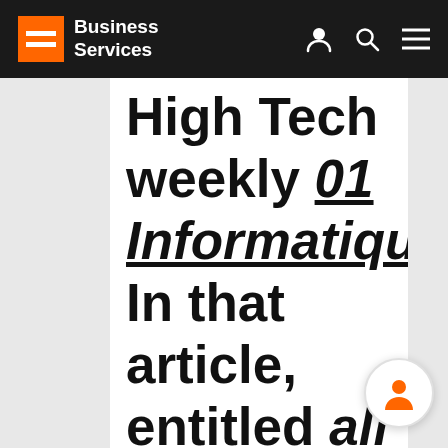Business Services
High Tech weekly 01 Informatique. In that article, entitled all